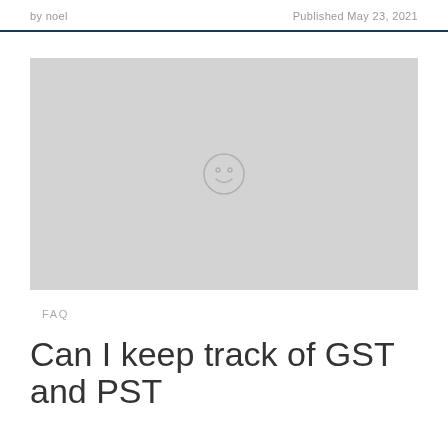by noel   Published May 23, 2021
[Figure (photo): Placeholder image with a smiley face icon in the center on a light grey background]
FAQ
Can I keep track of GST and PST